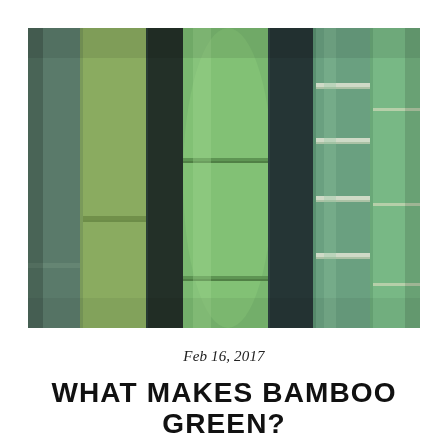[Figure (photo): Close-up photograph of multiple bamboo stalks/culms in shades of green and dark teal, showing the segmented nodes and cylindrical stems side by side filling the frame.]
Feb 16, 2017
WHAT MAKES BAMBOO GREEN?